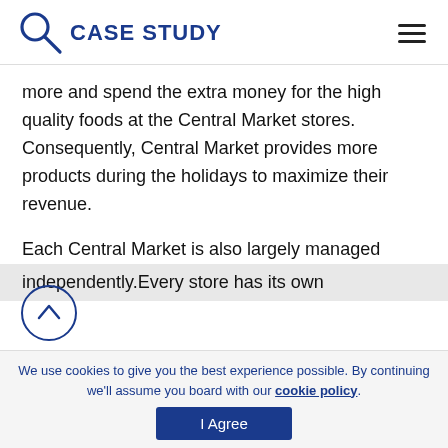CASE STUDY
more and spend the extra money for the high quality foods at the Central Market stores. Consequently, Central Market provides more products during the holidays to maximize their revenue.
Each Central Market is also largely managed independently.Every store has its own
We use cookies to give you the best experience possible. By continuing we'll assume you board with our cookie policy.
I Agree